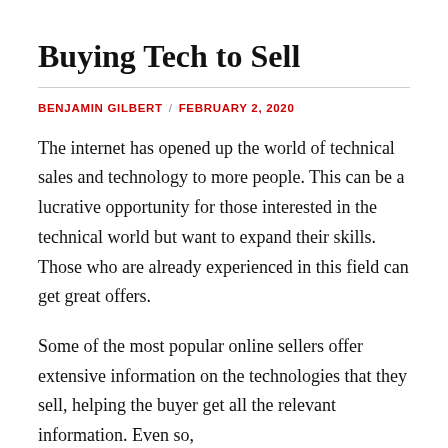Buying Tech to Sell
BENJAMIN GILBERT / FEBRUARY 2, 2020
The internet has opened up the world of technical sales and technology to more people. This can be a lucrative opportunity for those interested in the technical world but want to expand their skills. Those who are already experienced in this field can get great offers.
Some of the most popular online sellers offer extensive information on the technologies that they sell, helping the buyer get all the relevant information. Even so,